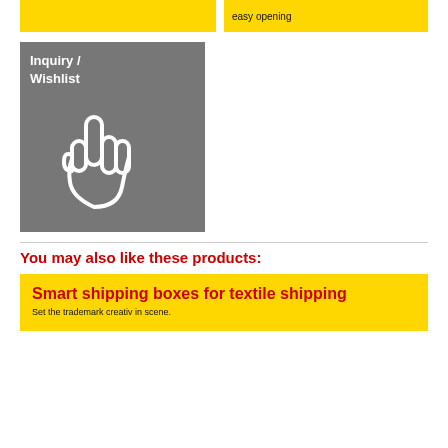[Figure (other): Yellow banner strip top left]
easy opening
[Figure (other): Gray box with Inquiry / Wishlist label and white hand pointer icon]
You may also like these products:
[Figure (other): Yellow product banner with red title Smart shipping boxes for textile shipping and subtitle Set the trademark creativ in scene.]